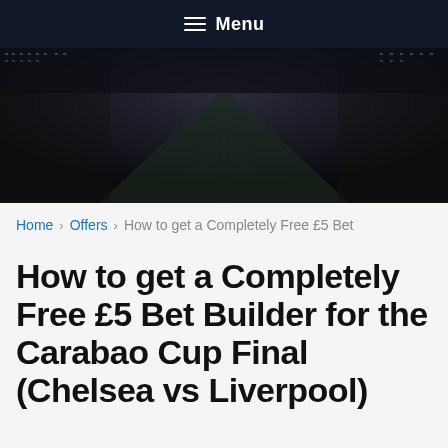Menu
[Figure (photo): Aerial view of a football stadium at night with dark tones, showing the pitch from above with stands visible]
Home > Offers > How to get a Completely Free £5 Bet
How to get a Completely Free £5 Bet Builder for the Carabao Cup Final (Chelsea vs Liverpool)